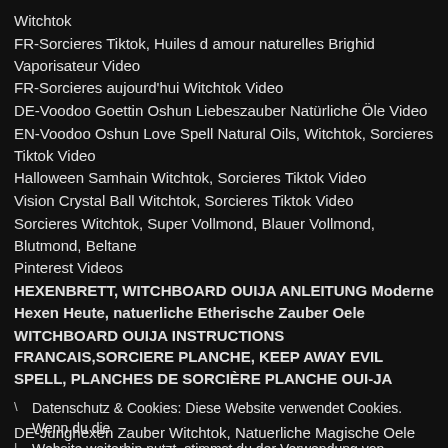Witchtok
FR-Sorcieres Tiktok, Huiles d amour naturelles Brighid Vaporisateur Video
FR-Sorcieres aujourd'hui Witchtok Video
DE-Voodoo Goettin Oshun Liebeszauber Natürliche Öle Video
EN-Voodoo Oshun Love Spell Natural Oils, Witchtok, Sorcieres Tiktok Video
Halloween Samhain Witchtok, Sorcieres Tiktok Video
Vision Crystal Ball Witchtok, Sorcieres Tiktok Video
Sorcieres Witchtok, Super Vollmond, Blauer Vollmond, Blutmond, Beltane
Pinterest Videos
HEXENBRETT, WITCHBOARD OUIJA ANLEITUNG Moderne Hexen Heute, natuerliche Etherische Zauber Oele
WITCHBOARD OUIJA INSTRUCTIONS FRANCAIS,SORCIERE PLANCHE, KEEP AWAY EVIL SPELL, PLANCHES DE SORCIÈRE PLANCHE OUI-JA
Datenschutz & Cookies: Diese Website verwendet Cookies. Wenn du die Website weiterhin nutzt, stimmst du der Verwendung von Cookies zu. Weitere Informationen, beispielsweise zur Kontrolle von Cookies, findest du hier: Cookie-Richtlinie
Schließen und Akzeptieren
DE-Junghexen Zauber Witchtok, Natuerliche Magische Oele